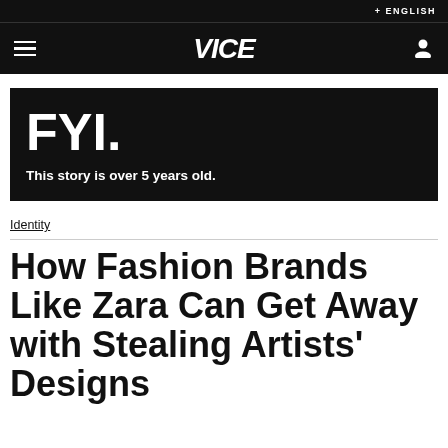+ ENGLISH
[Figure (logo): VICE logo in white italic bold text on black navigation bar with hamburger menu and user icon]
FYI.
This story is over 5 years old.
Identity
How Fashion Brands Like Zara Can Get Away with Stealing Artists' Designs